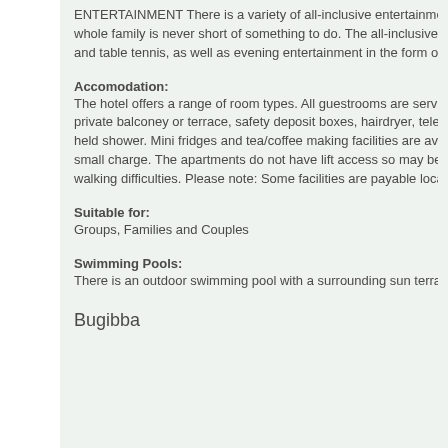ENTERTAINMENT There is a variety of all-inclusive entertainment available the whole family is never short of something to do. The all-inclusive programme and table tennis, as well as evening entertainment in the form of live music e
Accomodation:
The hotel offers a range of room types. All guestrooms are serviced with lifts private balconey or terrace, safety deposit boxes, hairdryer, television and fu held shower. Mini fridges and tea/coffee making facilities are available from small charge. The apartments do not have lift access so may be unsuitable walking difficulties. Please note: Some facilities are payable locally.
Suitable for:
Groups, Families and Couples
Swimming Pools:
There is an outdoor swimming pool with a surrounding sun terrace equippe
Bugibba